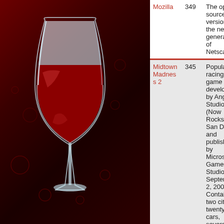[Figure (illustration): Wine glass with red wine against a dark red background with the Wine (software) logo. A white wine glass filled with red wine on a dark crimson/maroon background with circular bubble patterns.]
| Name | Votes | Description |
| --- | --- | --- |
| Mozilla | 349 | The open-source version of the next generation of Netscape. |
| Midtown Madness 2 | 345 | Popular racing game developed by Angel Studios (Now Rockstar San Diego) and published by Microsoft Game Studios in September 2, 2000. Contains two cities, twenty cars, several racing modes, and a modification community that has well documented 98% of its files... |